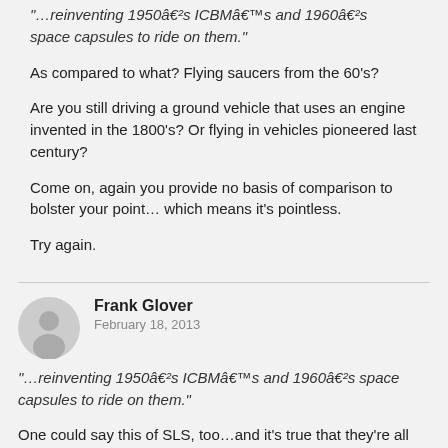"…reinventing 1950â€²s ICBMâ€™s and 1960â€²s space capsules to ride on them."
As compared to what? Flying saucers from the 60's?
Are you still driving a ground vehicle that uses an engine invented in the 1800's? Or flying in vehicles pioneered last century?
Come on, again you provide no basis of comparison to bolster your point… which means it's pointless.
Try again.
[Figure (illustration): Gray circular user avatar icon]
Frank Glover
February 18, 2013
"…reinventing 1950â€²s ICBMâ€™s and 1960â€²s space capsules to ride on them."
One could say this of SLS, too…and it's true that they're all tall cylinders with pointy tops, and flamey stuff coming out of the bottom, but that disregards any differences in technology inside.
However…
"American astronauts bum rides from Russia and